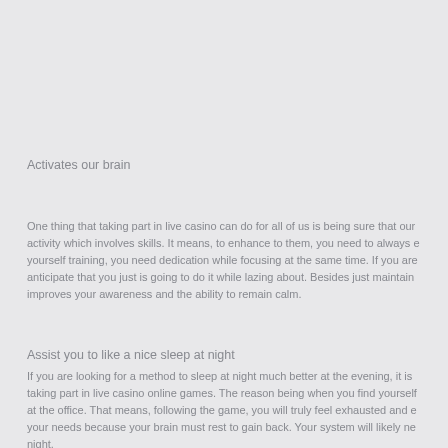Activates our brain
One thing that taking part in live casino can do for all of us is being sure that our activity which involves skills. It means, to enhance to them, you need to always give yourself training, you need dedication while focusing at the same time. If you are anticipate that you just is going to do it while lazing about. Besides just maintain improves your awareness and the ability to remain calm.
Assist you to like a nice sleep at night
If you are looking for a method to sleep at night much better at the evening, it is taking part in live casino online games. The reason being when you find yourself at the office. That means, following the game, you will truly feel exhausted and e your needs because your brain must rest to gain back. Your system will likely ne night.